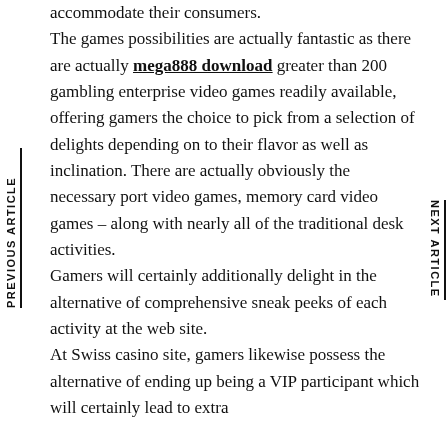accommodate their consumers. The games possibilities are actually fantastic as there are actually mega888 download greater than 200 gambling enterprise video games readily available, offering gamers the choice to pick from a selection of delights depending on to their flavor as well as inclination. There are actually obviously the necessary port video games, memory card video games – along with nearly all of the traditional desk activities. Gamers will certainly additionally delight in the alternative of comprehensive sneak peeks of each activity at the web site. At Swiss casino site, gamers likewise possess the alternative of ending up being a VIP participant which will certainly lead to extra